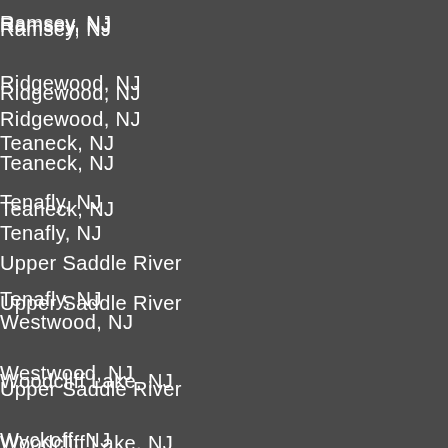Ramsey, NJ
Ridgewood, NJ
Teaneck, NJ
Tenafly, NJ
Upper Saddle River
Westwood, NJ
Woodcliff Lake, NJ
Wyckoff, NJ
th Jersey Soft Washing
ne
ut